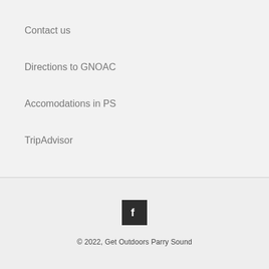Contact us
Directions to GNOAC
Accomodations in PS
TripAdvisor
[Figure (logo): Facebook icon - white letter F on dark background]
© 2022, Get Outdoors Parry Sound